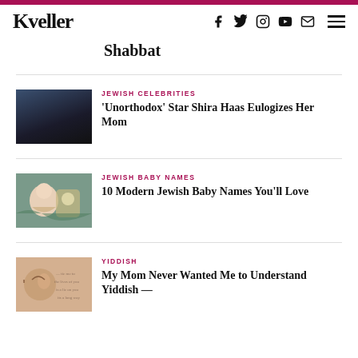Kveller
Shabbat
[Figure (photo): Portrait of Shira Haas in black outfit]
JEWISH CELEBRITIES
'Unorthodox' Star Shira Haas Eulogizes Her Mom
[Figure (photo): Person holding a baby with teal/green background]
JEWISH BABY NAMES
10 Modern Jewish Baby Names You'll Love
[Figure (photo): Close-up of ear with handwritten text in background]
YIDDISH
My Mom Never Wanted Me to Understand Yiddish —